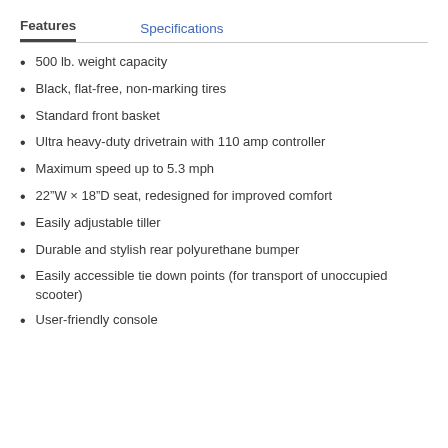Features   Specifications
500 lb. weight capacity
Black, flat-free, non-marking tires
Standard front basket
Ultra heavy-duty drivetrain with 110 amp controller
Maximum speed up to 5.3 mph
22"W × 18"D seat, redesigned for improved comfort
Easily adjustable tiller
Durable and stylish rear polyurethane bumper
Easily accessible tie down points (for transport of unoccupied scooter)
User-friendly console